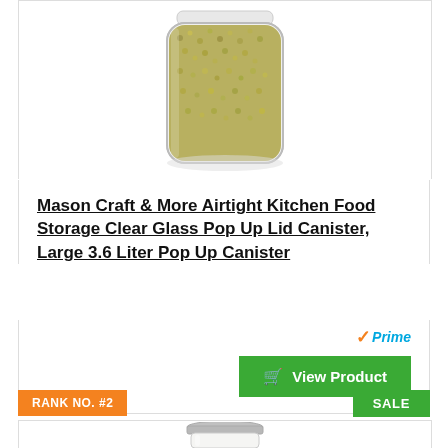[Figure (photo): Glass canister jar filled with green grains/seeds, with clear glass and airtight lid, centered on white background]
Mason Craft & More Airtight Kitchen Food Storage Clear Glass Pop Up Lid Canister, Large 3.6 Liter Pop Up Canister
[Figure (logo): Amazon Prime badge with orange checkmark and blue italic 'Prime' text]
View Product
RANK NO. #2
SALE
[Figure (photo): Clear glass mason jar with silver metal lid, embossed text on jar, on white background]